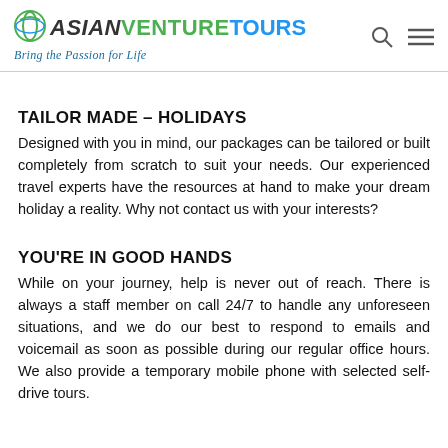ASIANVENTURE TOURS — Bring the Passion for Life
TAILOR MADE – HOLIDAYS
Designed with you in mind, our packages can be tailored or built completely from scratch to suit your needs. Our experienced travel experts have the resources at hand to make your dream holiday a reality. Why not contact us with your interests?
YOU'RE IN GOOD HANDS
While on your journey, help is never out of reach. There is always a staff member on call 24/7 to handle any unforeseen situations, and we do our best to respond to emails and voicemail as soon as possible during our regular office hours. We also provide a temporary mobile phone with selected self-drive tours.